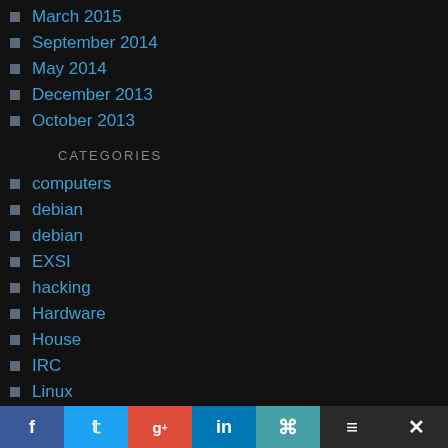March 2015
September 2014
May 2014
December 2013
October 2013
CATEGORIES
computers
debian
debian
EXSI
hacking
Hardware
House
IRC
Linux
Network
Server room
Ubuntu
Vmware
Wind…